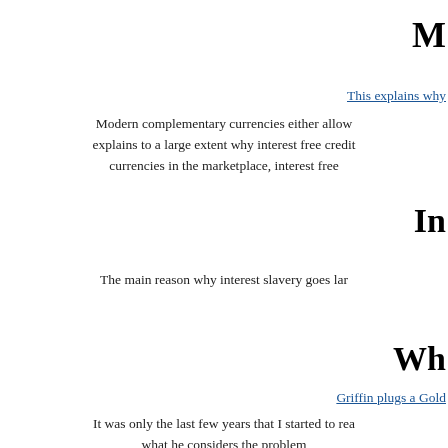M
This explains why
Modern complementary currencies either allow explains to a large extent why interest free credit currencies in the marketplace, interest free
In
The main reason why interest slavery goes lar
Wh
Griffin plugs a Gold
It was only the last few years that I started to rea what he considers the problem